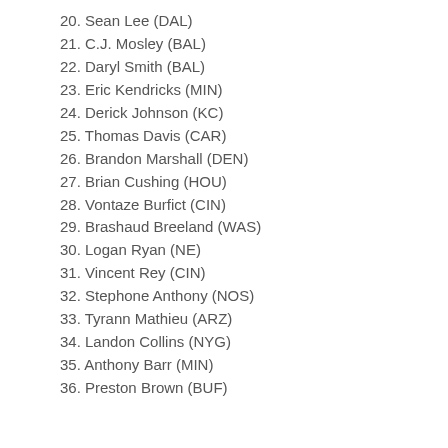20. Sean Lee (DAL)
21. C.J. Mosley (BAL)
22. Daryl Smith (BAL)
23. Eric Kendricks (MIN)
24. Derick Johnson (KC)
25. Thomas Davis (CAR)
26. Brandon Marshall (DEN)
27. Brian Cushing (HOU)
28. Vontaze Burfict (CIN)
29. Brashaud Breeland (WAS)
30. Logan Ryan (NE)
31. Vincent Rey (CIN)
32. Stephone Anthony (NOS)
33. Tyrann Mathieu (ARZ)
34. Landon Collins (NYG)
35. Anthony Barr (MIN)
36. Preston Brown (BUF)